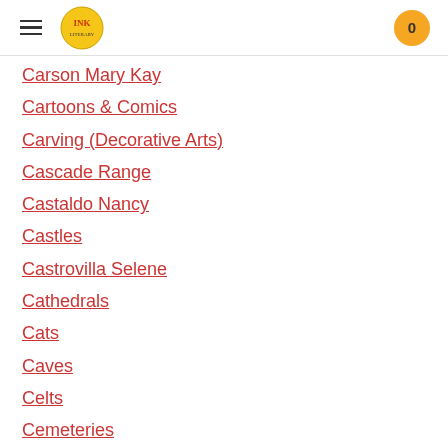INK Literary — navigation header with hamburger menu, logo, and cart (0)
Carson Mary Kay
Cartoons & Comics
Carving (Decorative Arts)
Cascade Range
Castaldo Nancy
Castles
Castrovilla Selene
Cathedrals
Cats
Caves
Celts
Cemeteries
Chemistry
Children's Authors